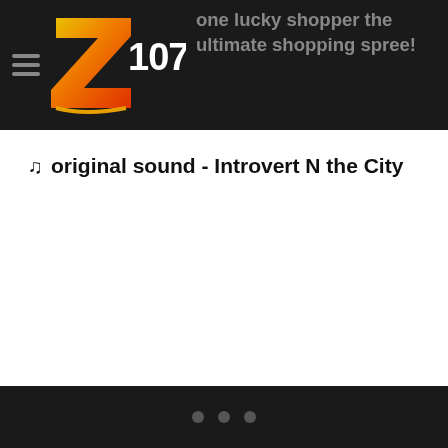one lucky shopper the ultimate shopping spree!
♫ original sound - Introvert N the City